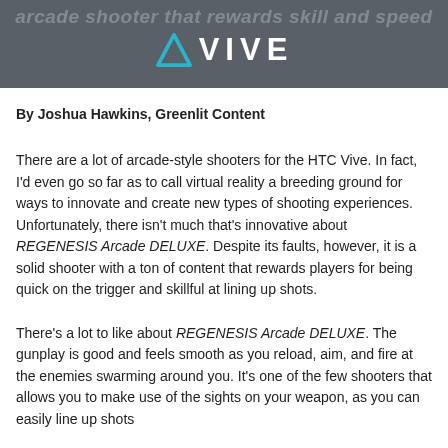arcade shooter that rewards skill and speed
[Figure (logo): HTC Vive logo: cyan triangle icon followed by VIVE wordmark in white on dark gray background]
By Joshua Hawkins, Greenlit Content
There are a lot of arcade-style shooters for the HTC Vive. In fact, I'd even go so far as to call virtual reality a breeding ground for ways to innovate and create new types of shooting experiences. Unfortunately, there isn't much that's innovative about REGENESIS Arcade DELUXE. Despite its faults, however, it is a solid shooter with a ton of content that rewards players for being quick on the trigger and skillful at lining up shots.
There's a lot to like about REGENESIS Arcade DELUXE. The gunplay is good and feels smooth as you reload, aim, and fire at the enemies swarming around you. It's one of the few shooters that allows you to make use of the sights on your weapon, as you can easily line up shots